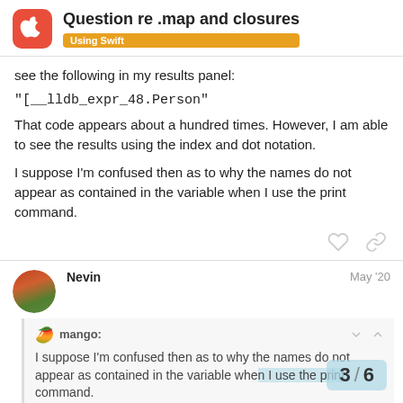Question re .map and closures — Using Swift
see the following in my results panel:
"[__lldb_expr_48.Person"
That code appears about a hundred times. However, I am able to see the results using the index and dot notation.
I suppose I'm confused then as to why the names do not appear as contained in the variable when I use the print command.
Nevin — May '20
mango:
I suppose I'm confused then as to why the names do not appear as contained in the variable whe command.
3 / 6